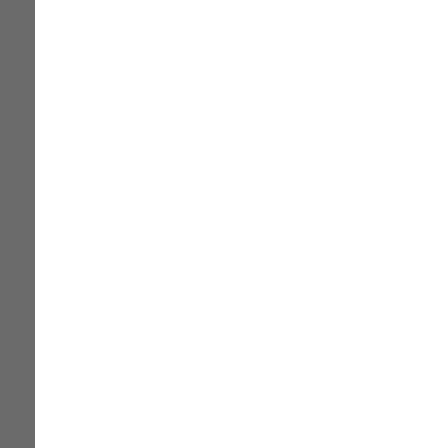images and more!
File Tree Printer - File Tree Printer is a directory printer, The directory printer is used to print or export directory listings or CD/DVD listings to a text file, which can be displayed, edited or printed by other programs such as Notepad, Wordpad, Microsoft Word.
Alive Text to Speech - Read Text...